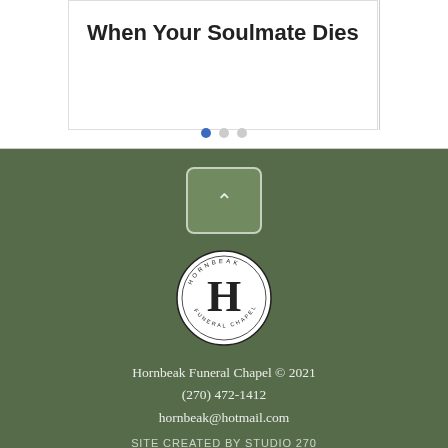When Your Soulmate Dies
[Figure (other): Carousel navigation dots — one filled blue, two grey]
[Figure (logo): Hornbeak Funeral Chapel circular logo with large H in center]
Hornbeak Funeral Chapel © 2021
(270) 472-1412
hornbeak@hotmail.com
SITE CREATED BY STUDIO 270